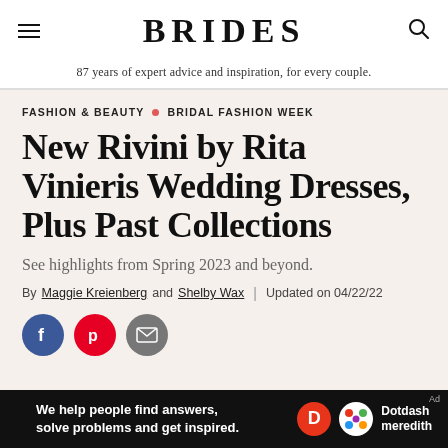BRIDES — 87 years of expert advice and inspiration, for every couple.
FASHION & BEAUTY • BRIDAL FASHION WEEK
New Rivini by Rita Vinieris Wedding Dresses, Plus Past Collections
See highlights from Spring 2023 and beyond.
By Maggie Kreienberg and Shelby Wax | Updated on 04/22/22
[Figure (other): Social sharing buttons: Facebook, Pinterest, Email]
[Figure (other): Advertisement banner: We help people find answers, solve problems and get inspired. Dotdash meredith logo.]